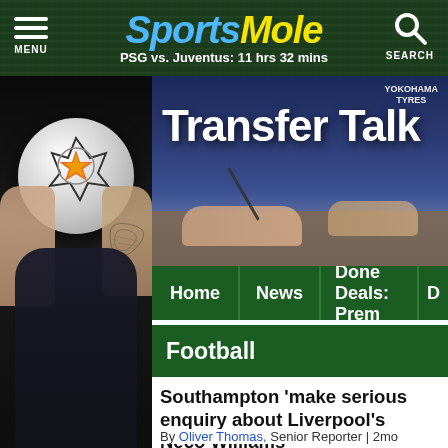Sports Mole — PSG vs. Juventus: 11 hrs 32 mins
[Figure (photo): Transfer Talk banner image showing a person signing a document, with YOKOHAMA TYRES branding visible]
[Figure (screenshot): Navigation bar with Home, News, Done Deals: Prem, D tabs on green background]
Football
Southampton 'make serious enquiry about Liverpool's Neco Williams'
By Oliver Thomas, Senior Reporter | 2mo
[Figure (photo): A footballer holding a Champions League ball above their head, with tattoos visible on arms, dark background]